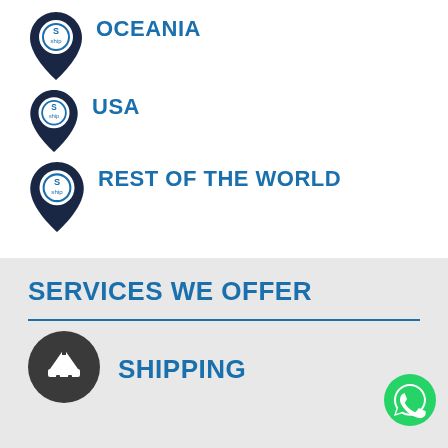OCEANIA
USA
REST OF THE WORLD
SERVICES WE OFFER
SHIPPING